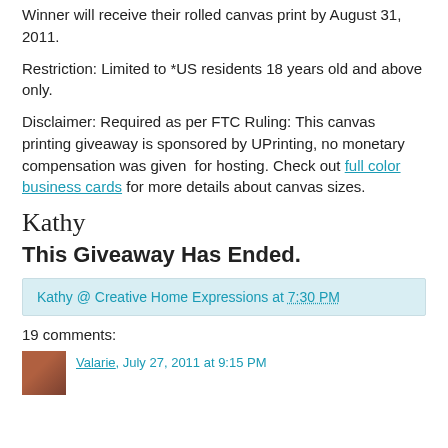Winner will receive their rolled canvas print by August 31, 2011.
Restriction: Limited to *US residents 18 years old and above only.
Disclaimer: Required as per FTC Ruling: This canvas printing giveaway is sponsored by UPrinting, no monetary compensation was given for hosting. Check out full color business cards for more details about canvas sizes.
Kathy
This Giveaway Has Ended.
Kathy @ Creative Home Expressions at 7:30 PM
19 comments:
Valarie, July 27, 2011 at 9:15 PM